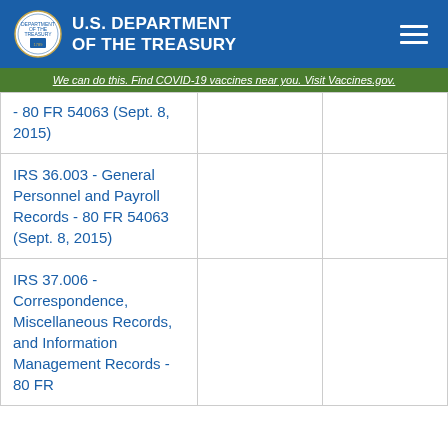U.S. DEPARTMENT OF THE TREASURY
We can do this. Find COVID-19 vaccines near you. Visit Vaccines.gov.
| Record |  |  |
| --- | --- | --- |
| - 80 FR 54063 (Sept. 8, 2015) |  |  |
| IRS 36.003 - General Personnel and Payroll Records - 80 FR 54063 (Sept. 8, 2015) |  |  |
| IRS 37.006 - Correspondence, Miscellaneous Records, and Information Management Records - 80 FR |  |  |